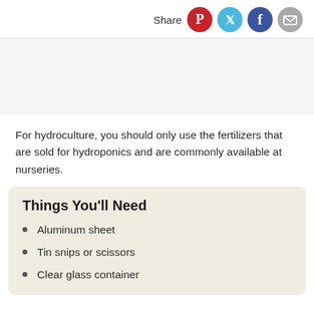Share
[Figure (other): Gray advertisement/image placeholder area]
For hydroculture, you should only use the fertilizers that are sold for hydroponics and are commonly available at nurseries.
Things You'll Need
Aluminum sheet
Tin snips or scissors
Clear glass container